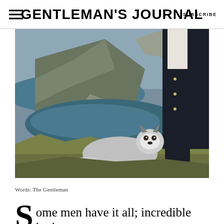GENTLEMAN'S JOURNAL | SUBSCRIBE
[Figure (photo): A man in a dark navy coat and white turtleneck stands next to a Siberian Husky dog lying on a grassy cliff overlooking dramatic coastal rock formations and a cove with blue-green water.]
Words: The Gentleman
Some men have it all; incredible looks,